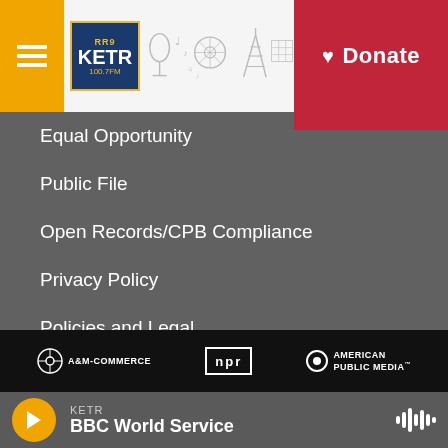[Figure (screenshot): KETR radio station website header with hamburger menu, KETR logo, decorative radio-themed illustration, and red Donate button]
Equal Opportunity
Public File
Open Records/CPB Compliance
Privacy Policy
Policies and Legal
[Figure (logo): Partner logos bar: A&M-Commerce, NPR, American Public Media on black background]
[Figure (screenshot): Audio player bar showing KETR BBC World Service with orange play button and audio waveform icon]